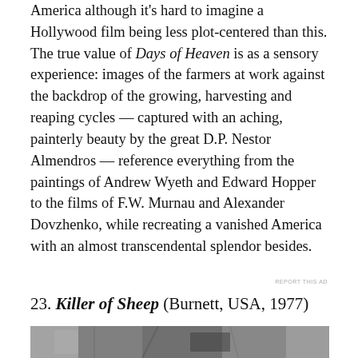America although it's hard to imagine a Hollywood film being less plot-centered than this. The true value of Days of Heaven is as a sensory experience: images of the farmers at work against the backdrop of the growing, harvesting and reaping cycles — captured with an aching, painterly beauty by the great D.P. Nestor Almendros — reference everything from the paintings of Andrew Wyeth and Edward Hopper to the films of F.W. Murnau and Alexander Dovzhenko, while recreating a vanished America with an almost transcendental splendor besides.
[Figure (other): Advertisement banner: dark navy background with circular icon, teal text 'Launch your online course with WordPress', and white 'Learn More' button]
23. Killer of Sheep (Burnett, USA, 1977)
[Figure (photo): Black and white photograph, partially visible, showing an outdoor scene]